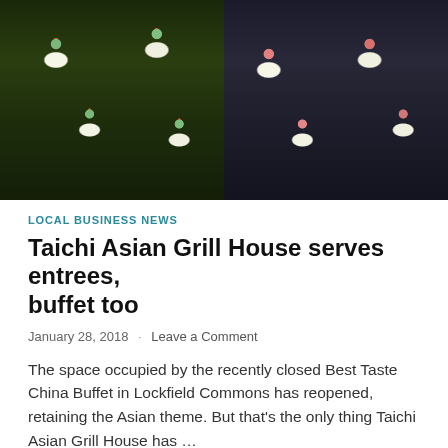[Figure (photo): Close-up photo of assorted sushi rolls arranged on a dark surface, showing green avocado-topped rolls with red roe on the left side and pink/salmon-colored rolls on the right side, split by a glass divider.]
LOCAL BUSINESS NEWS
Taichi Asian Grill House serves entrees, buffet too
January 28, 2018  ·  Leave a Comment
The space occupied by the recently closed Best Taste China Buffet in Lockfield Commons has reopened, retaining the Asian theme. But that's the only thing Taichi Asian Grill House has ...
READ MORE